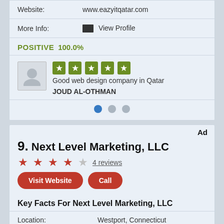Website: www.eazyitqatar.com
More Info: View Profile
POSITIVE 100.0%
Good web design company in Qatar
JOUD AL-OTHMAN
Ad
9. Next Level Marketing, LLC
4 reviews
Visit Website  Call
Key Facts For Next Level Marketing, LLC
Location: Westport, Connecticut
Services: PPC, Local SEO